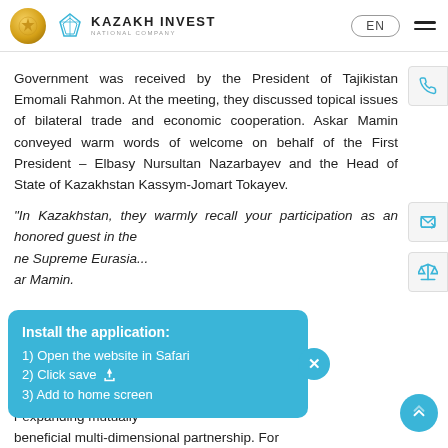KAZAKH INVEST NATIONAL COMPANY | EN
Government was received by the President of Tajikistan Emomali Rahmon. At the meeting, they discussed topical issues of bilateral trade and economic cooperation. Askar Mamin conveyed warm words of welcome on behalf of the First President – Elbasy Nursultan Nazarbayev and the Head of State of Kazakhstan Kassym-Jomart Tokayev.
“In Kazakhstan, they warmly recall your participation as an honored guest in the Supreme Eurasi... ar Mamin.
Install the application: 1) Open the website in Safari 2) Click save 3) Add to home screen
...ntal negotiations were... expanding mutually beneficial multi-dimensional partnership. For